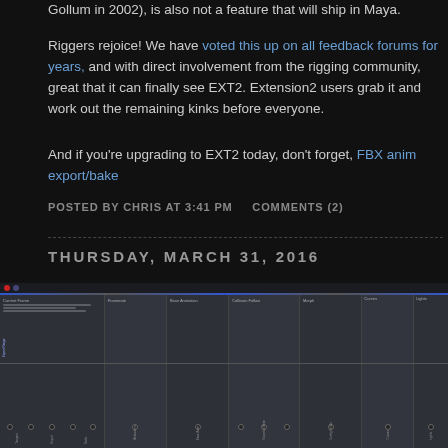Gollum in 2002), is also not a feature that will ship in Maya.
Riggers rejoice! We have voted this up on all feedback forums for years, and with direct involvement from the rigging community, great that it can finally see EXT2. Extension2 users grab it and work out the remaining kinks before everyone.
And if you're upgrading to EXT2 today, don't forget, FBX anim export/bake
POSTED BY CHRIS AT 3:41 PM    COMMENTS (2)
THURSDAY, MARCH 31, 2016
WHY DOES EVERYONE WRITE THEIR EXPORTER?
[Figure (screenshot): Screenshot of a 3D animation software interface showing a node graph or spreadsheet editor with multiple columns of parameters, checkboxes, and vertical text labels]